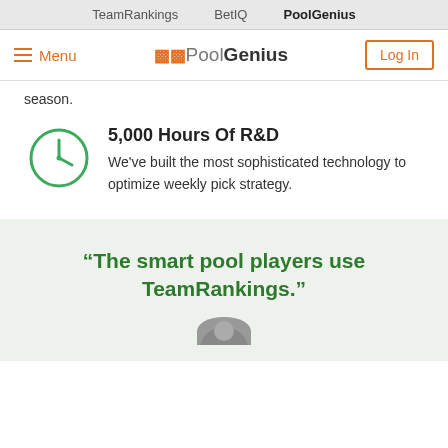TeamRankings   BetIQ   PoolGenius
Menu   POOLGENIUS   Log In
season.
5,000 Hours Of R&D
We've built the most sophisticated technology to optimize weekly pick strategy.
“The smart pool players use TeamRankings.”